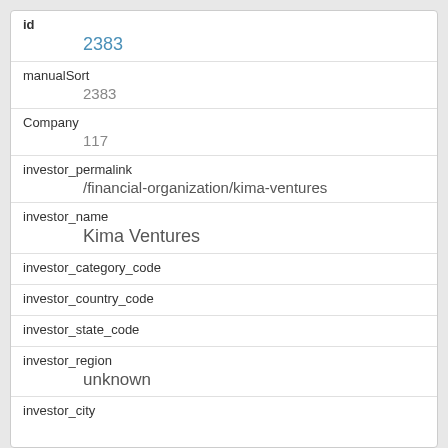| Field | Value |
| --- | --- |
| id | 2383 |
| manualSort | 2383 |
| Company | 117 |
| investor_permalink | /financial-organization/kima-ventures |
| investor_name | Kima Ventures |
| investor_category_code |  |
| investor_country_code |  |
| investor_state_code |  |
| investor_region | unknown |
| investor_city |  |